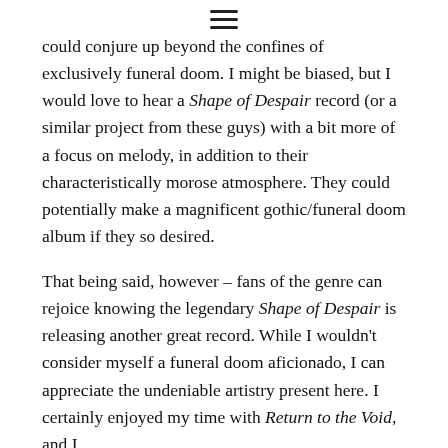☰
could conjure up beyond the confines of exclusively funeral doom. I might be biased, but I would love to hear a Shape of Despair record (or a similar project from these guys) with a bit more of a focus on melody, in addition to their characteristically morose atmosphere. They could potentially make a magnificent gothic/funeral doom album if they so desired.
That being said, however – fans of the genre can rejoice knowing the legendary Shape of Despair is releasing another great record. While I wouldn't consider myself a funeral doom aficionado, I can appreciate the undeniable artistry present here. I certainly enjoyed my time with Return to the Void, and I